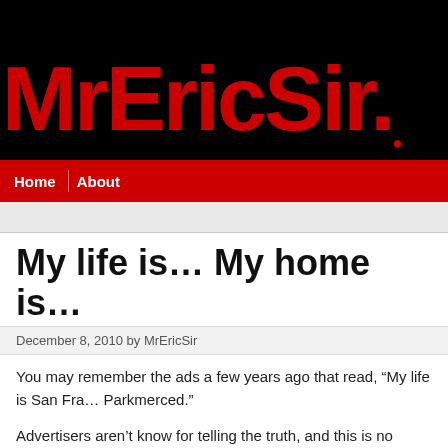[Figure (logo): MrEricSir website banner with large red text on black background]
Home   About
My life is… My home is…
December 8, 2010 by MrEricSir
You may remember the ads a few years ago that read, “My life is San Fra… Parkmerced.”
Advertisers aren’t know for telling the truth, and this is no exception; the ads seem to be implying that Parkmerced is part of San Francisco, which while